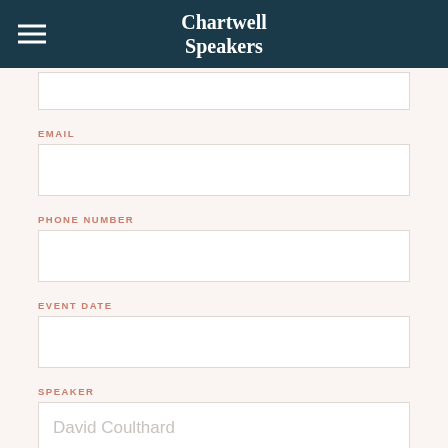Chartwell Speakers
EMAIL
PHONE NUMBER
EVENT DATE
SPEAKER
David Coulthard